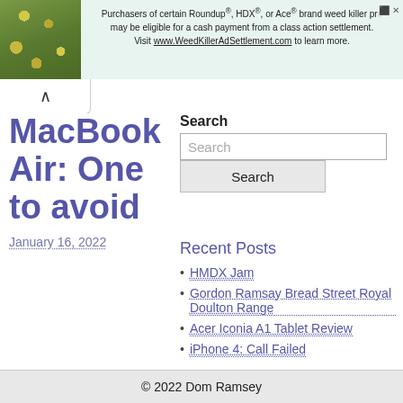[Figure (screenshot): Advertisement banner with plant photo on left and text about Roundup weed killer class action settlement on right]
Purchasers of certain Roundup®, HDX®, or Ace® brand weed killer products may be eligible for a cash payment from a class action settlement. Visit www.WeedKillerAdSettlement.com to learn more.
MacBook Air: One to avoid
January 16, 2022
Search
Search
Recent Posts
HMDX Jam
Gordon Ramsay Bread Street Royal Doulton Range
Acer Iconia A1 Tablet Review
iPhone 4: Call Failed
© 2022 Dom Ramsey